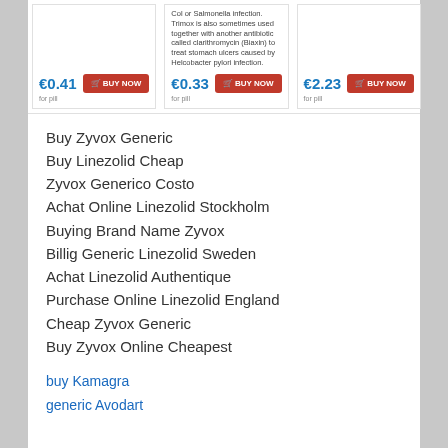[Figure (screenshot): Three pharmacy product cards showing pills with prices €0.41, €0.33, €2.23 per pill and red BUY NOW buttons. Middle card has text about Trimox antibiotic medication.]
Buy Zyvox Generic
Buy Linezolid Cheap
Zyvox Generico Costo
Achat Online Linezolid Stockholm
Buying Brand Name Zyvox
Billig Generic Linezolid Sweden
Achat Linezolid Authentique
Purchase Online Linezolid England
Cheap Zyvox Generic
Buy Zyvox Online Cheapest
buy Kamagra
generic Avodart